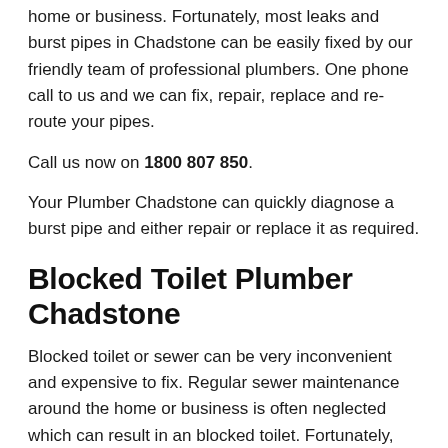home or business. Fortunately, most leaks and burst pipes in Chadstone can be easily fixed by our friendly team of professional plumbers. One phone call to us and we can fix, repair, replace and re-route your pipes.
Call us now on 1800 807 850.
Your Plumber Chadstone can quickly diagnose a burst pipe and either repair or replace it as required.
Blocked Toilet Plumber Chadstone
Blocked toilet or sewer can be very inconvenient and expensive to fix. Regular sewer maintenance around the home or business is often neglected which can result in an blocked toilet. Fortunately, most blocked toilets and blocked sewer pipes in